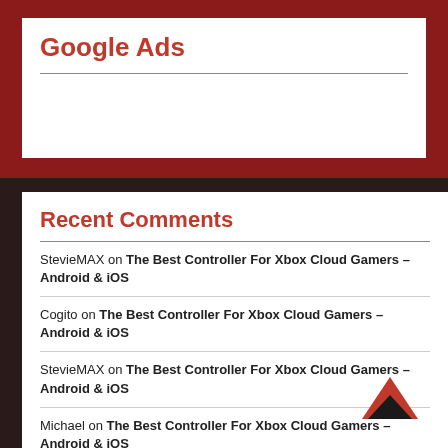Google Ads
Recent Comments
StevieMAX on The Best Controller For Xbox Cloud Gamers – Android & iOS
Cogito on The Best Controller For Xbox Cloud Gamers – Android & iOS
StevieMAX on The Best Controller For Xbox Cloud Gamers – Android & iOS
Michael on The Best Controller For Xbox Cloud Gamers – Android & iOS
StevieMAX on Best Mobile Gaming Controller for